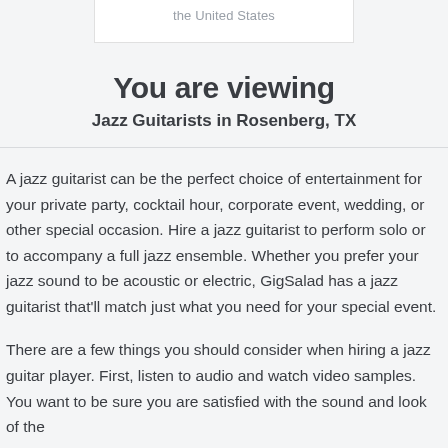[Figure (other): Top partial white card element showing text 'the United States' in gray, cropped at top]
You are viewing
Jazz Guitarists in Rosenberg, TX
A jazz guitarist can be the perfect choice of entertainment for your private party, cocktail hour, corporate event, wedding, or other special occasion. Hire a jazz guitarist to perform solo or to accompany a full jazz ensemble. Whether you prefer your jazz sound to be acoustic or electric, GigSalad has a jazz guitarist that'll match just what you need for your special event.
There are a few things you should consider when hiring a jazz guitar player. First, listen to audio and watch video samples. You want to be sure you are satisfied with the sound and look of the